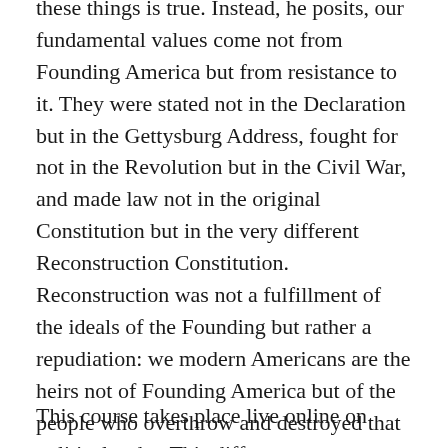these things is true. Instead, he posits, our fundamental values come not from Founding America but from resistance to it. They were stated not in the Declaration but in the Gettysburg Address, fought for not in the Revolution but in the Civil War, and made law not in the original Constitution but in the very different Reconstruction Constitution. Reconstruction was not a fulfillment of the ideals of the Founding but rather a repudiation: we modern Americans are the heirs not of Founding America but of the people who overthrow and destroyed that political order. This different understanding of the source of American values and identity opens the door to a new understanding of ourselves and our story, and ultimately to a new America.
This course takes place live online on